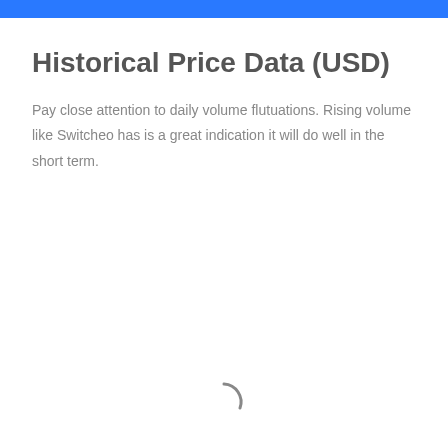Historical Price Data (USD)
Pay close attention to daily volume flutuations. Rising volume like Switcheo has is a great indication it will do well in the short term.
[Figure (other): Loading spinner arc — a partial circular arc indicating content is loading]